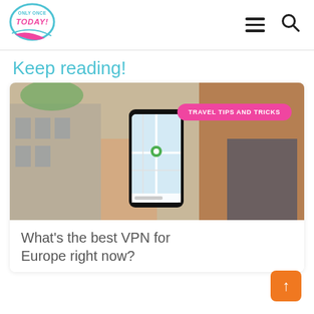[Figure (logo): Only Once Today logo — circular badge with pink swoosh and teal/blue text]
Keep reading!
[Figure (photo): Person holding a smartphone displaying a map app, blurred background of European-style buildings, red-haired person visible. Pink badge overlay reads TRAVEL TIPS AND TRICKS.]
What's the best VPN for Europe right now?